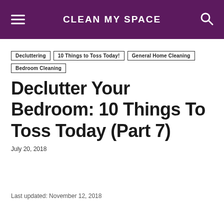CLEAN MY SPACE
Decluttering
10 Things to Toss Today!
General Home Cleaning
Bedroom Cleaning
Declutter Your Bedroom: 10 Things To Toss Today (Part 7)
July 20, 2018
Last updated: November 12, 2018